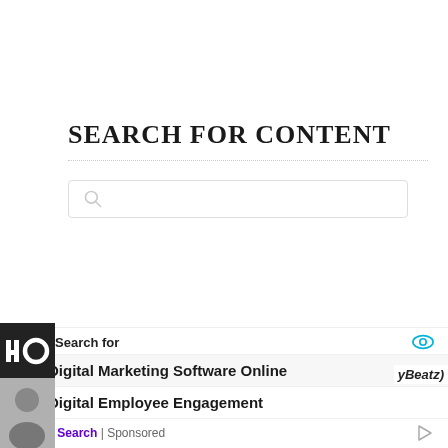SEARCH FOR CONTENT
[Figure (screenshot): Search input box with magnifying glass icon]
Search for
1  Digital Marketing Software Online
2  Digital Employee Engagement
Yahoo! Search | Sponsored